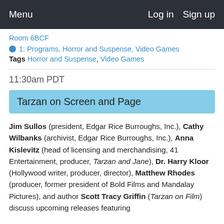Menu   Log in   Sign up
Room 6BCF
1: Programs, Horror and Suspense, Video Games
Tags Horror and Suspense, Video Games
11:30am PDT
Tarzan on Screen and Page
Jim Sullos (president, Edgar Rice Burroughs, Inc.), Cathy Wilbanks (archivist, Edgar Rice Burroughs, Inc.), Anna Kislevitz (head of licensing and merchandising, 41 Entertainment, producer, Tarzan and Jane), Dr. Harry Kloor (Hollywood writer, producer, director), Matthew Rhodes (producer, former president of Bold Films and Mandalay Pictures), and author Scott Tracy Griffin (Tarzan on Film) discuss upcoming releases featuring